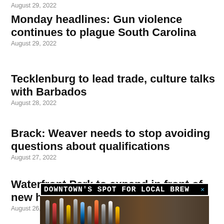August 29, 2022
Monday headlines: Gun violence continues to plague South Carolina
August 29, 2022
Tecklenburg to lead trade, culture talks with Barbados
August 28, 2022
Brack: Weaver needs to stop avoiding questions about qualifications
August 27, 2022
Waterfront Park to expand in front of new hotel
August 26, 2022
[Figure (photo): Advertisement banner for a local brewery called 'Downtown's Spot for Local Brew' showing beer tap handles at a bar]